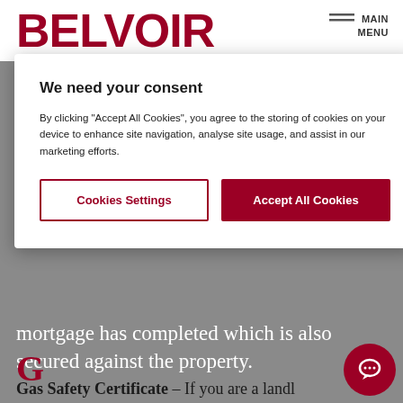BELVOIR
We need your consent
By clicking "Accept All Cookies", you agree to the storing of cookies on your device to enhance site navigation, analyse site usage, and assist in our marketing efforts.
Cookies Settings
Accept All Cookies
mortgage has completed which is also secured against the property.
G
Gas Safety Certificate – If you are a landlord letting a property equipped with gas